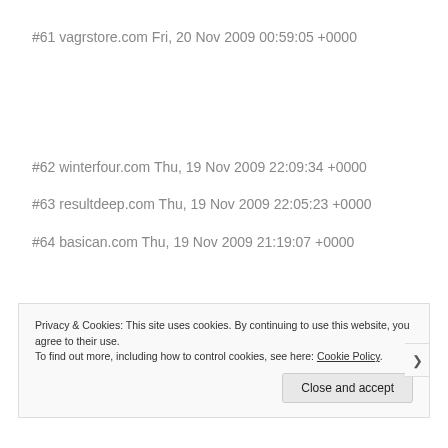#61 vagrstore.com Fri, 20 Nov 2009 00:59:05 +0000
#62 winterfour.com Thu, 19 Nov 2009 22:09:34 +0000
#63 resultdeep.com Thu, 19 Nov 2009 22:05:23 +0000
#64 basican.com Thu, 19 Nov 2009 21:19:07 +0000
Privacy & Cookies: This site uses cookies. By continuing to use this website, you agree to their use. To find out more, including how to control cookies, see here: Cookie Policy